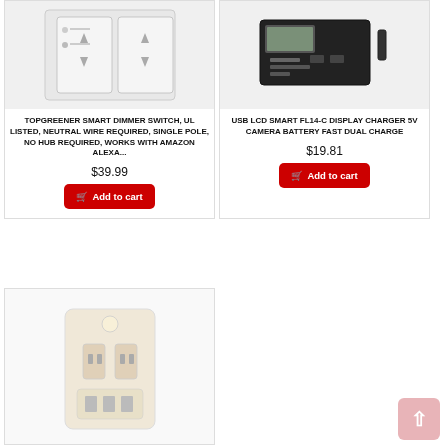[Figure (photo): Topgreener smart dimmer switch product photo on white/grey background]
TOPGREENER SMART DIMMER SWITCH, UL LISTED, NEUTRAL WIRE REQUIRED, SINGLE POLE, NO HUB REQUIRED, WORKS WITH AMAZON ALEXA...
$39.99
Add to cart
[Figure (photo): USB LCD Smart FL14-C Display Charger 5V Camera Battery Fast Dual Charge product photo on white background]
USB LCD SMART FL14-C DISPLAY CHARGER 5V CAMERA BATTERY FAST DUAL CHARGE
$19.81
Add to cart
[Figure (photo): Partial product image showing a night light or outlet product, beige/white colored]